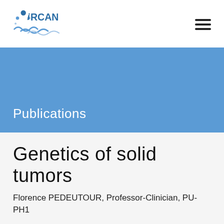[Figure (logo): IRCAN institute logo with blue dots and wave shapes]
Publications
Genetics of solid tumors
Florence PEDEUTOUR, Professor-Clinician, PU-PH1